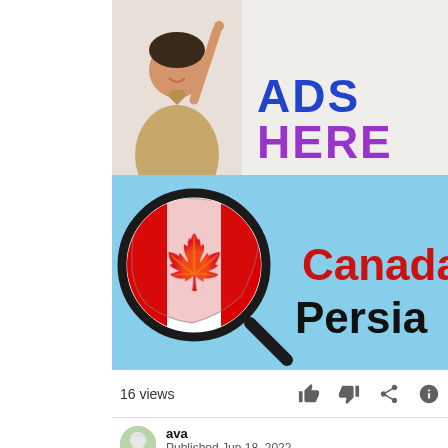[Figure (illustration): Advertisement banner with a person in a tan polo shirt pointing upward, with blue text 'ADS' and purple text 'HERE' on a light grey background]
[Figure (illustration): Thumbnail image showing a magnifying glass over a Canada map/flag on a light blue background, with red text 'Canada' and black text 'Persia']
16 views
ava
Published Jun 18, 2022
First trailer for Prizefighter starring Russell Crowe, Matt Hookings,